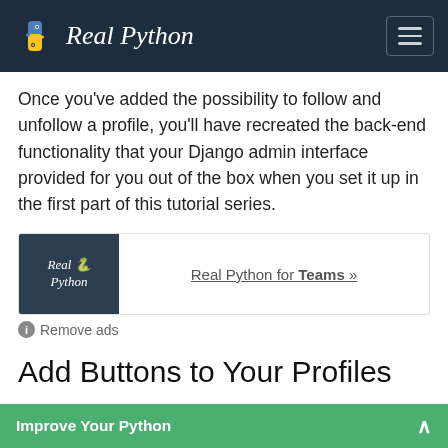Real Python
Once you've added the possibility to follow and unfollow a profile, you'll have recreated the back-end functionality that your Django admin interface provided for you out of the box when you set it up in the first part of this tutorial series.
[Figure (other): Real Python for Teams advertisement banner with Real Python logo on dark background and link text 'Real Python for Teams »']
ⓘ Remove ads
Add Buttons to Your Profiles
Add HTML code with Bulma button styling to create
Improve Your Python